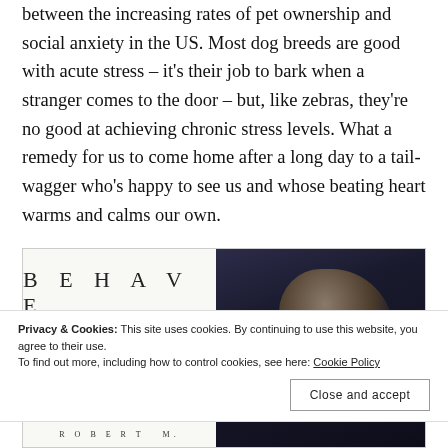between the increasing rates of pet ownership and social anxiety in the US. Most dog breeds are good with acute stress – it's their job to bark when a stranger comes to the door – but, like zebras, they're no good at achieving chronic stress levels. What a remedy for us to come home after a long day to a tail-wagger who's happy to see us and whose beating heart warms and calms our own.
[Figure (photo): Book cover of 'BEHAVE: THE BIOLOGY OF HUMANS AT OUR BEST AND WORST' alongside a photo of a man (author) with dark curly hair against a dark background]
Privacy & Cookies: This site uses cookies. By continuing to use this website, you agree to their use.
To find out more, including how to control cookies, see here: Cookie Policy
Close and accept